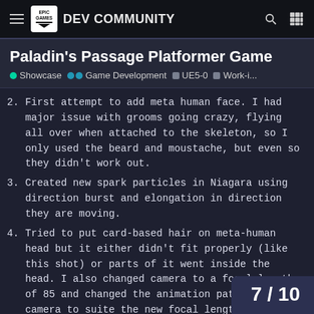Epic Games DEV COMMUNITY
Paladin's Passage Platformer Game
Showcase  Game Development  UE5-0  Work-i...
2. First attempt to add meta human face. I had major issue with grooms going crazy, flying all over when attached to the skeleton, so I only used the beard and moustache, but even so they didn't work out.
3. Created new spark particles in Niagara using direction burst and elongation in direction they are moving.
4. Tried to put card-based hair on meta-human head but it either didn't fit properly (like this shot) or parts of it went inside the head. I also changed camera to a focal length of 85 and changed the animation path of the camera to suite the new focal length. Dis
7 / 10